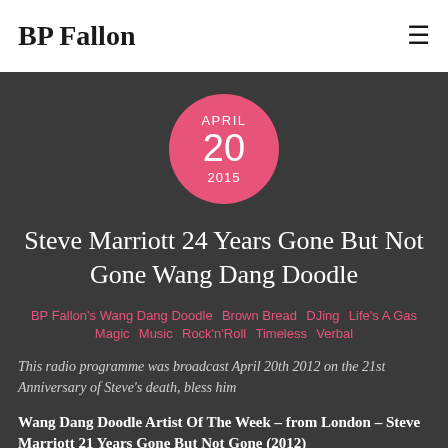BP Fallon
[Figure (infographic): Pink circle date badge showing APRIL 20 2015]
Steve Marriott 24 Years Gone But Not Gone Wang Dang Doodle
BP Fallon's Wang Dang Doodle  Brown Bread  DJing  Life's A Gas  Magic  Music  Rock'n'Roll  Timeless  Verbal
This radio programme was broadcast April 20th 2012 on the 21st Anniversary of Steve's death, bless him
Wang Dang Doodle Artist Of The Week – from London – Steve Marriott 21 Years Gone But Not Gone (2012)